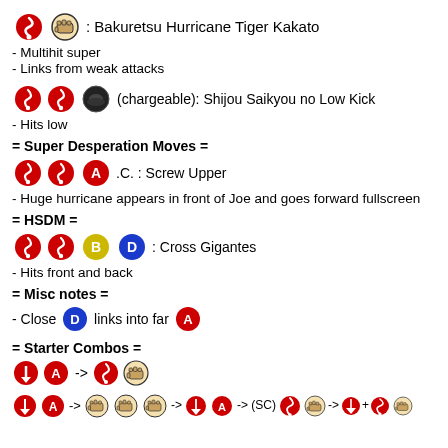[red-circle][fist]: Bakuretsu Hurricane Tiger Kakato
- Multihit super
- Links from weak attacks
[red-qcf][red-qcf][dark-orb] (chargeable): Shijou Saikyou no Low Kick
- Hits low
= Super Desperation Moves =
[red-qcf][red-qcf][A].C. : Screw Upper
- Huge hurricane appears in front of Joe and goes forward fullscreen
= HSDM =
[red-qcf][red-qcf][B][D] : Cross Gigantes
- Hits front and back
= Misc notes =
- Close [D] links into far [A]
= Starter Combos =
[down-A] -> [red-fist-combo]
[down-A] -> [fist][fist][fist] -> [red] + [A] -> (SC) [red-fist] -> [down] + [red][fist]